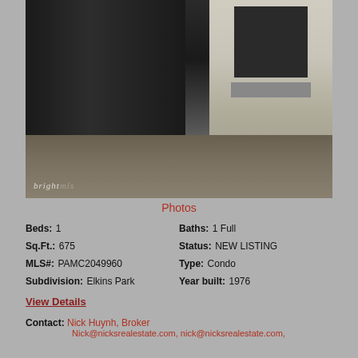[Figure (photo): Exterior photo of a property showing a dark garage door on the left and a white/cream front door on the right with a small window and mail slot, stone pathway in foreground. Brightmls watermark in lower left.]
Photos
Beds: 1   Baths: 1 Full
Sq.Ft.: 675   Status: NEW LISTING
MLS#: PAMC2049960   Type: Condo
Subdivision: Elkins Park   Year built: 1976
View Details
Contact: Nick Huynh, Broker Nick@nicksrealestate.com, nick@nicksrealestate.com,